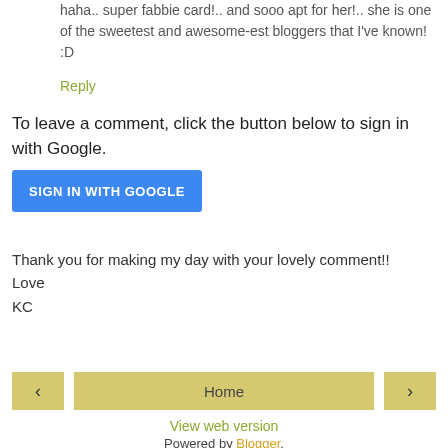haha.. super fabbie card!.. and sooo apt for her!.. she is one of the sweetest and awesome-est bloggers that I've known! :D
Reply
To leave a comment, click the button below to sign in with Google.
[Figure (other): Blue 'SIGN IN WITH GOOGLE' button]
Thank you for making my day with your lovely comment!!
Love
KC
[Figure (other): Navigation bar with left arrow, Home button, and right arrow]
View web version
Powered by Blogger.